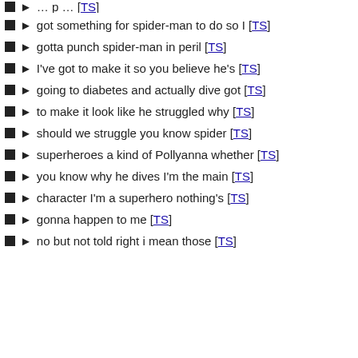got something for spider-man to do so I [TS]
gotta punch spider-man in peril [TS]
I've got to make it so you believe he's [TS]
going to diabetes and actually dive got [TS]
to make it look like he struggled why [TS]
should we struggle you know spider [TS]
superheroes a kind of Pollyanna whether [TS]
you know why he dives I'm the main [TS]
character I'm a superhero nothing's [TS]
gonna happen to me [TS]
no but not told right i mean those [TS]